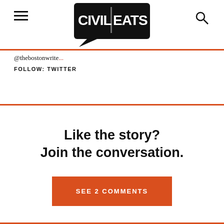Civil Eats
@thebostonwrite...
FOLLOW: TWITTER
Like the story?
Join the conversation.
SEE 2 COMMENTS